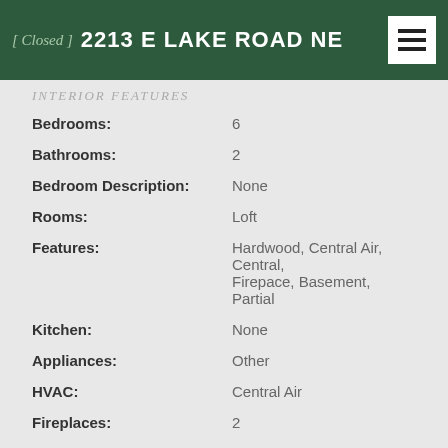[ Closed ]  2213 E LAKE ROAD NE
INTERIOR FEATURES
| Field | Value |
| --- | --- |
| Bedrooms: | 6 |
| Bathrooms: | 2 |
| Bedroom Description: | None |
| Rooms: | Loft |
| Features: | Hardwood, Central Air, Central, Firepace, Basement, Partial |
| Kitchen: | None |
| Appliances: | Other |
| HVAC: | Central Air |
| Fireplaces: | 2 |
| Fireplace Description: | Decorative |